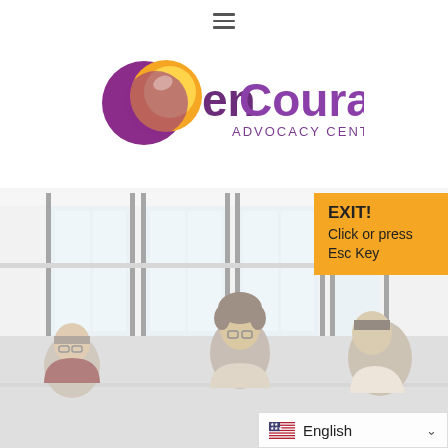[Figure (screenshot): Hamburger menu icon (three horizontal lines) at the top center of a website header]
[Figure (logo): enCourage Advocacy Center logo: purple crescent and orange/yellow circle graphic with the text 'enCourage' in purple and 'ADVOCACY CENTER' below in purple]
[Figure (photo): Background photo of people (women) sitting together in a bright room with large windows, having a discussion. Photo is desaturated/faded.]
EXIT! Click or press Esc Key
English